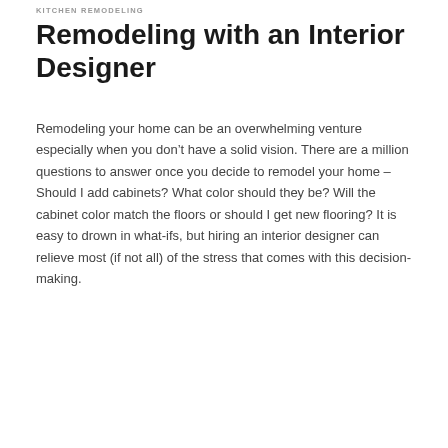KITCHEN REMODELING
Remodeling with an Interior Designer
Remodeling your home can be an overwhelming venture especially when you don’t have a solid vision. There are a million questions to answer once you decide to remodel your home – Should I add cabinets? What color should they be? Will the cabinet color match the floors or should I get new flooring? It is easy to drown in what-ifs, but hiring an interior designer can relieve most (if not all) of the stress that comes with this decision-making.